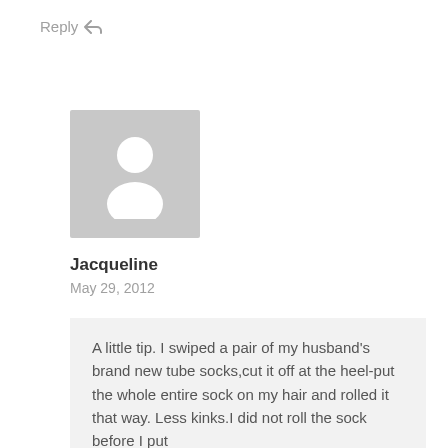Reply
[Figure (illustration): Generic user avatar placeholder - grey square with white silhouette of a person]
Jacqueline
May 29, 2012
A little tip. I swiped a pair of my husband's brand new tube socks,cut it off at the heel-put the whole entire sock on my hair and rolled it that way. Less kinks.I did not roll the sock before I put